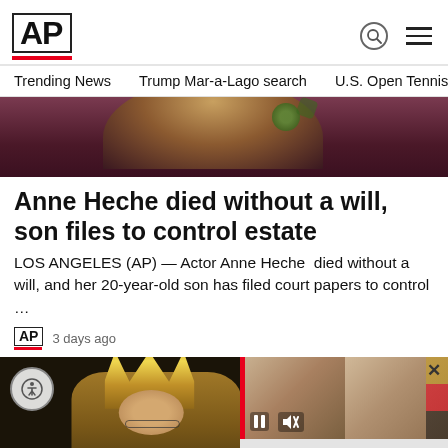AP
Trending News   Trump Mar-a-Lago search   U.S. Open Tennis
[Figure (photo): Partial photo of a person with blond/golden hair and a green accessory/earring visible, cropped at the head]
Anne Heche died without a will, son files to control estate
LOS ANGELES (AP) — Actor Anne Heche  died without a will, and her 20-year-old son has filed court papers to control …
AP  3 days ago
[Figure (photo): Left: Photo of a man in elaborate golden religious crown/vestments with glasses. Right overlaid panel: video thumbnail showing two men's portraits (news report) with pause and mute controls, and caption text 'Stabbings in Canada kill 10, wound 15; suspect...']
Stabbings in Canada kill 10, wound 15; suspect...